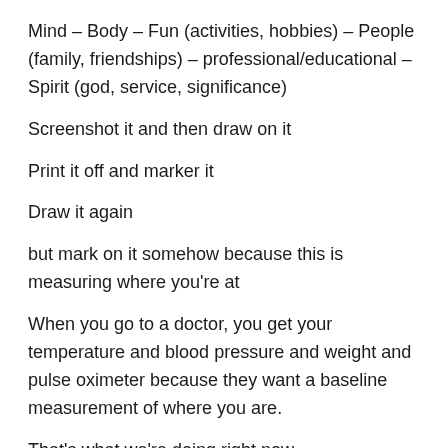Mind – Body – Fun (activities, hobbies) – People (family, friendships) – professional/educational – Spirit (god, service, significance)
Screenshot it and then draw on it
Print it off and marker it
Draw it again
but mark on it somehow because this is measuring where you're at
When you go to a doctor, you get your temperature and blood pressure and weight and pulse oximeter because they want a baseline measurement of where you are.
That's what we're doing right now.